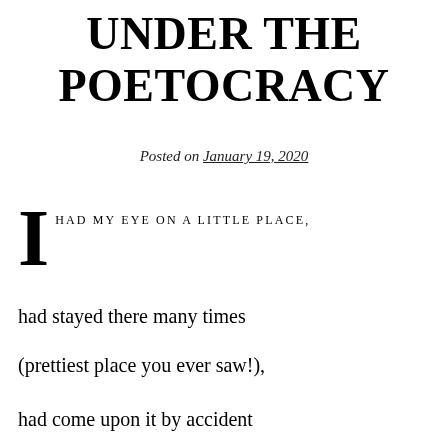UNDER THE POETOCRACY
Posted on January 19, 2020
I HAD MY EYE ON A LITTLE PLACE,
had stayed there many times
(prettiest place you ever saw!),
had come upon it by accident